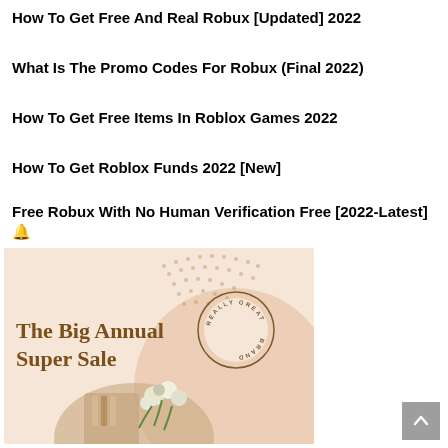How To Get Free And Real Robux [Updated] 2022
What Is The Promo Codes For Robux (Final 2022)
How To Get Free Items In Roblox Games 2022
How To Get Roblox Funds 2022 [New]
Free Robux With No Human Verification Free [2022-Latest] 🔔
[Figure (illustration): Advertisement banner showing 'The Big Annual Super Sale' with a circular badge reading 'REALLY GREAT BRAND', a peach/beige background with dot pattern, and a photo of someone holding a tote bag with white flowers.]